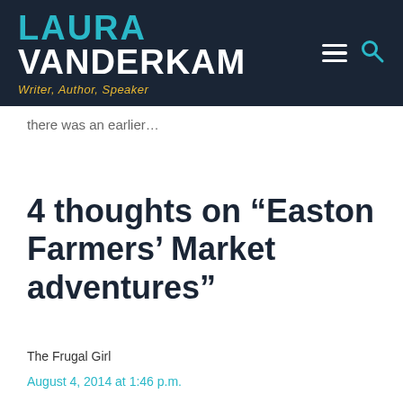LAURA VANDERKAM — Writer, Author, Speaker
there was an earlier…
4 thoughts on “Easton Farmers’ Market adventures”
The Frugal Girl
August 4, 2014 at 1:46 p.m.